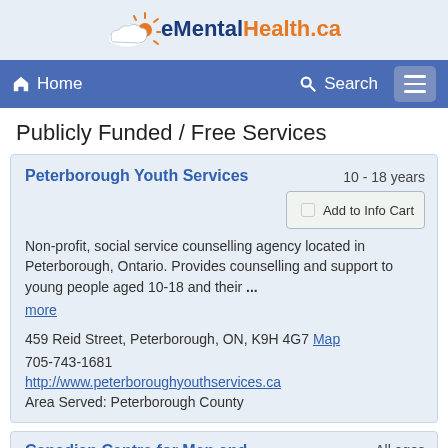[Figure (logo): eMentalHealth.ca logo with cloud and sun icon]
Home  Search  Menu
Publicly Funded / Free Services
Peterborough Youth Services
10 - 18 years
Non-profit, social service counselling agency located in Peterborough, Ontario. Provides counselling and support to young people aged 10-18 and their ... more
459 Reid Street, Peterborough, ON, K9H 4G7 Map
705-743-1681
http://www.peterboroughyouthservices.ca
Area Served: Peterborough County
Canadian Centre for Men and Families (CCMF)
All ages